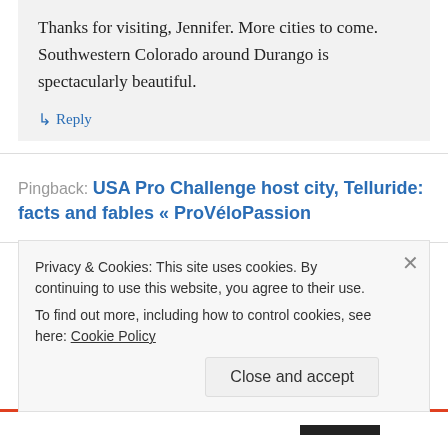Thanks for visiting, Jennifer. More cities to come. Southwestern Colorado around Durango is spectacularly beautiful.
↳ Reply
Pingback: USA Pro Challenge host city, Telluride: facts and fables « ProVéloPassion
Pingback: USA Pro Challenge host city, Montrose: facts
Privacy & Cookies: This site uses cookies. By continuing to use this website, you agree to their use.
To find out more, including how to control cookies, see here: Cookie Policy
Close and accept